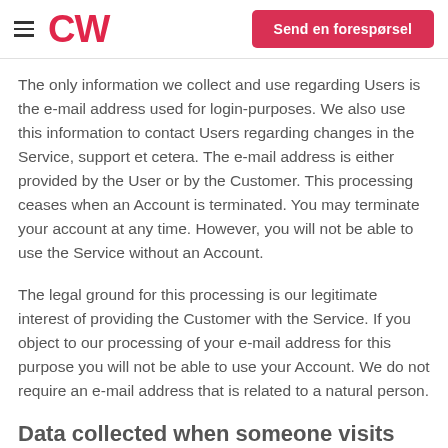CW | Send en forespørsel
The only information we collect and use regarding Users is the e-mail address used for login-purposes. We also use this information to contact Users regarding changes in the Service, support et cetera. The e-mail address is either provided by the User or by the Customer. This processing ceases when an Account is terminated. You may terminate your account at any time. However, you will not be able to use the Service without an Account.
The legal ground for this processing is our legitimate interest of providing the Customer with the Service. If you object to our processing of your e-mail address for this purpose you will not be able to use your Account. We do not require an e-mail address that is related to a natural person.
Data collected when someone visits